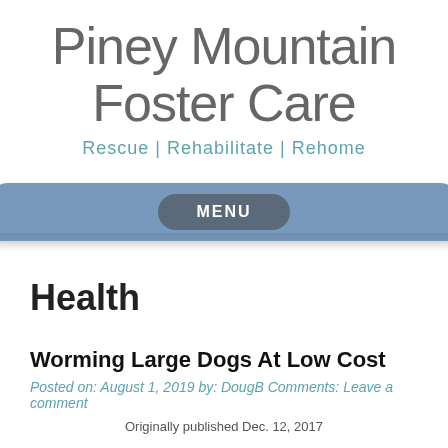Piney Mountain Foster Care
Rescue | Rehabilitate | Rehome
Health
Worming Large Dogs At Low Cost
Posted on: August 1, 2019 by: DougB Comments: Leave a comment
Originally published Dec. 12, 2017